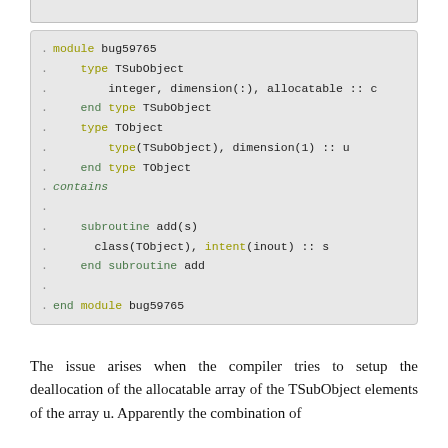[Figure (screenshot): Code block showing Fortran module bug59765 with type definitions TSubObject and TObject, contains section with subroutine add(s)]
The issue arises when the compiler tries to setup the deallocation of the allocatable array of the TSubObject elements of the array u. Apparently the combination of